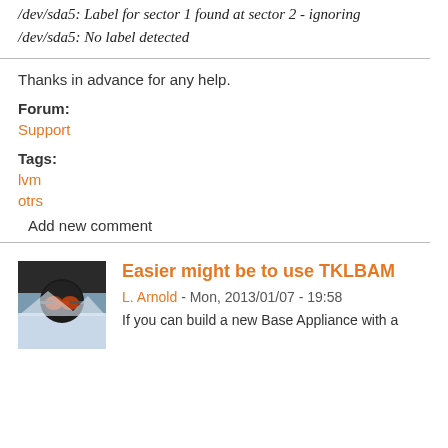/dev/sda5: Label for sector 1 found at sector 2 - ignoring
/dev/sda5: No label detected
Thanks in advance for any help.
Forum:
Support
Tags:
lvm
otrs
Add new comment
Easier might be to use TKLBAM
L. Arnold - Mon, 2013/01/07 - 19:58
If you can build a new Base Appliance with a